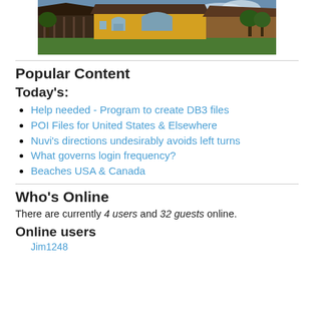[Figure (photo): Photograph of a farm building with yellow/orange walls and dark roof, green grass in foreground, trees and cloudy sky in background.]
Popular Content
Today's:
Help needed - Program to create DB3 files
POI Files for United States & Elsewhere
Nuvi's directions undesirably avoids left turns
What governs login frequency?
Beaches USA & Canada
Who's Online
There are currently 4 users and 32 guests online.
Online users
Jim1248